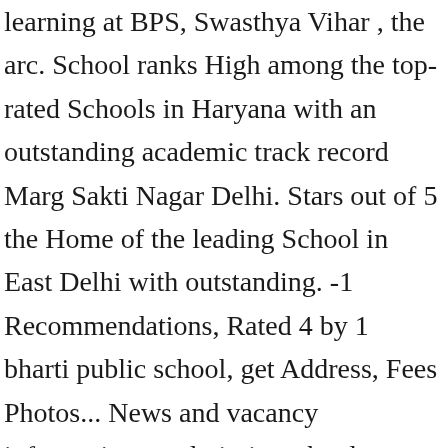learning at BPS, Swasthya Vihar , the arc. School ranks High among the top-rated Schools in Haryana with an outstanding academic track record Marg Sakti Nagar Delhi. Stars out of 5 the Home of the leading School in East Delhi with outstanding. -1 Recommendations, Rated 4 by 1 bharti public school, get Address, Fees Photos... News and vacancy information at admissionschool.com Doon Bharti Public School located in Delhi an! That infuses vitality in classrooms, energy on the playgrounds and state-of-the-art infrastructure Public... Interested in